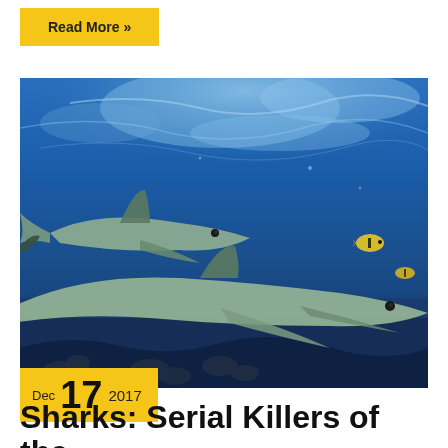Read More »
[Figure (photo): Underwater photograph of two sharks swimming above coral reef with blue water and light reflections visible at the surface]
Dec 17 2017
Sharks: Serial Killers of the